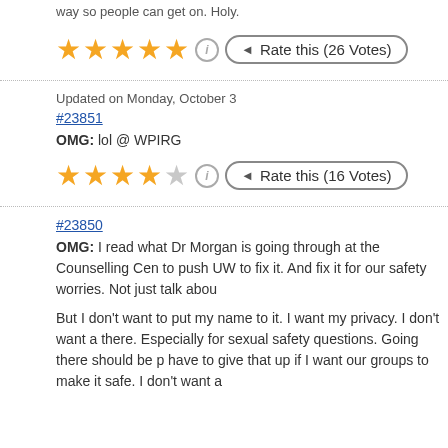way so people can get on. Holy.
[Figure (other): 5 gold stars rating widget with info icon and 'Rate this (26 Votes)' button]
Updated on Monday, October 3
#23851
OMG: lol @ WPIRG
[Figure (other): 4 gold stars and 1 empty star rating widget with info icon and 'Rate this (16 Votes)' button]
#23850
OMG: I read what Dr Morgan is going through at the Counselling Cen... to push UW to fix it. And fix it for our safety worries. Not just talk abou...
But I don't want to put my name to it. I want my privacy. I don't want a... there. Especially for sexual safety questions. Going there should be p... have to give that up if I want our groups to make it safe. I don't want a...